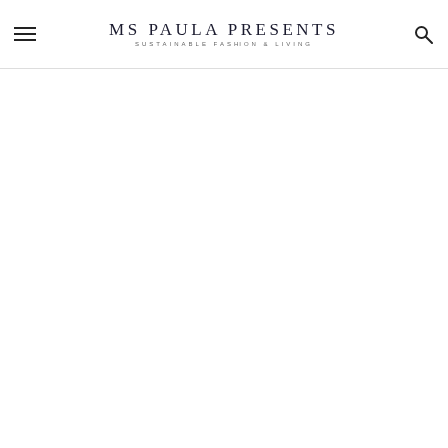MS PAULA PRESENTS | SUSTAINABLE FASHION & LIVING
[Figure (other): Empty white content area below header]